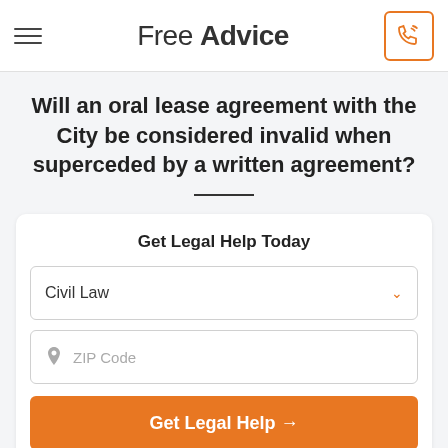Free Advice
Will an oral lease agreement with the City be considered invalid when superceded by a written agreement?
Get Legal Help Today
Civil Law
ZIP Code
Get Legal Help →